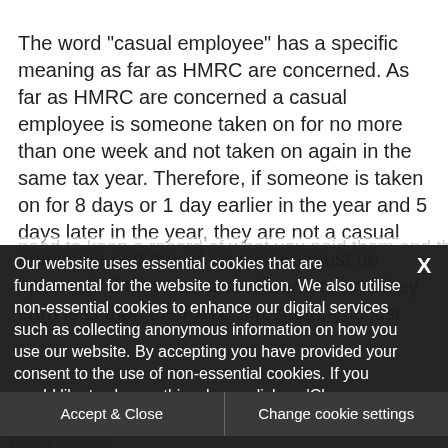The word "casual employee" has a specific meaning as far as HMRC are concerned. As far as HMRC are concerned a casual employee is someone taken on for no more than one week and not taken on again in the same tax year. Therefore, if someone is taken on for 8 days or 1 day earlier in the year and 5 days later in the year, they are not a casual employee and the PAYE system must be operated. If they are casual workers and they earn less than the PAYE threshold, you just need to keep a record of what you paid them and this...
Our website uses essential cookies that are fundamental for the website to function. We also utilise non-essential cookies to enhance our digital services such as collecting anonymous information on how you use our website. By accepting you have provided your consent to the use of non-essential cookies. If you would like to change this, please click on 'Change cookie settings'.
Accept & Close | Change cookie settings
casual workers...